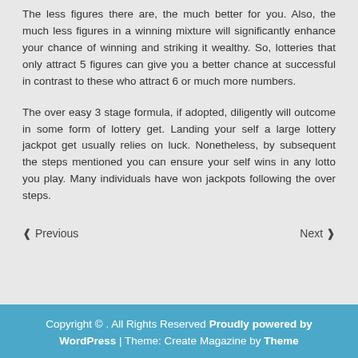The less figures there are, the much better for you. Also, the much less figures in a winning mixture will significantly enhance your chance of winning and striking it wealthy. So, lotteries that only attract 5 figures can give you a better chance at successful in contrast to these who attract 6 or much more numbers.
The over easy 3 stage formula, if adopted, diligently will outcome in some form of lottery get. Landing your self a large lottery jackpot get usually relies on luck. Nonetheless, by subsequent the steps mentioned you can ensure your self wins in any lotto you play. Many individuals have won jackpots following the over steps.
❮ Previous    Next ❯
Copyright © . All Rights Reserved Proudly powered by WordPress | Theme: Create Magazine by Theme